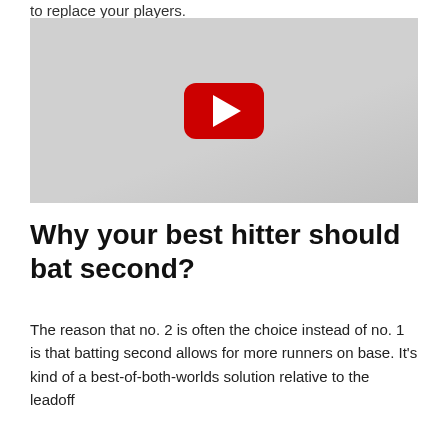to replace your players.
[Figure (screenshot): YouTube video thumbnail placeholder — grey background with YouTube play button logo in the center]
Why your best hitter should bat second?
The reason that no. 2 is often the choice instead of no. 1 is that batting second allows for more runners on base. It's kind of a best-of-both-worlds solution relative to the leadoff and the...